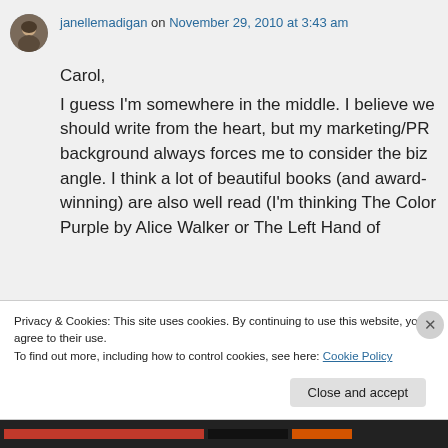janellemadigan on November 29, 2010 at 3:43 am
Carol,
I guess I'm somewhere in the middle. I believe we should write from the heart, but my marketing/PR background always forces me to consider the biz angle. I think a lot of beautiful books (and award-winning) are also well read (I'm thinking The Color Purple by Alice Walker or The Left Hand of
Privacy & Cookies: This site uses cookies. By continuing to use this website, you agree to their use.
To find out more, including how to control cookies, see here: Cookie Policy
Close and accept